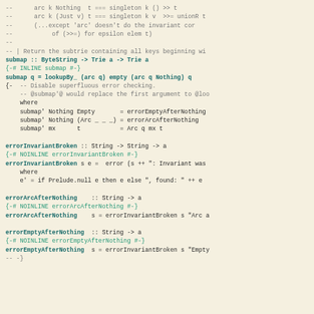Haskell source code showing submap, errorInvariantBroken, errorArcAfterNothing, and errorEmptyAfterNothing functions with comments